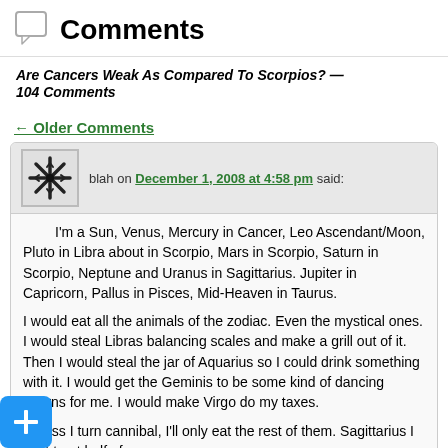Comments
Are Cancers Weak As Compared To Scorpios? — 104 Comments
← Older Comments
blah on December 1, 2008 at 4:58 pm said:
I'm a Sun, Venus, Mercury in Cancer, Leo Ascendant/Moon, Pluto in Libra about in Scorpio, Mars in Scorpio, Saturn in Scorpio, Neptune and Uranus in Sagittarius. Jupiter in Capricorn, Pallus in Pisces, Mid-Heaven in Taurus.
I would eat all the animals of the zodiac. Even the mystical ones. I would steal Libras balancing scales and make a grill out of it. Then I would steal the jar of Aquarius so I could drink something with it. I would get the Geminis to be some kind of dancing clowns for me. I would make Virgo do my taxes.
Unless I turn cannibal, I'll only eat the rest of them. Sagittarius I might eat half of.
Scorpions are good for survival food in the desert.